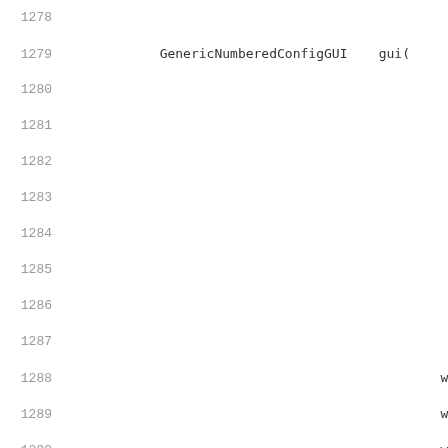Source code listing lines 1278-1300
1278
1279   GenericNumberedConfigGUI    gui(
1280
1281
1282
1283
1284
1285
1286
1287
1288                                          w
1289                                          w
1290                                          w
1291                                          w
1292                                          w
1293
1294
1295   gui.DisplayDialog();
1296 }
1297
1298 void wxWidgetsFrame::OnLogSubstitute(wxCommandEve
1299 {
1300   wxString    group;